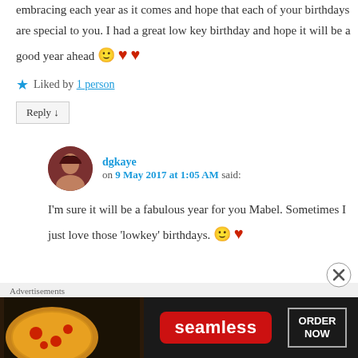embracing each year as it comes and hope that each of your birthdays are special to you. I had a great low key birthday and hope it will be a good year ahead 🙂 ❤ ❤
★ Liked by 1 person
Reply ↓
dgkaye on 9 May 2017 at 1:05 AM said:
I'm sure it will be a fabulous year for you Mabel. Sometimes I just love those 'lowkey' birthdays. 🙂 ❤
Advertisements
[Figure (photo): Seamless food delivery advertisement banner with pizza image on left, Seamless brand name in red badge, and 'ORDER NOW' button on right]